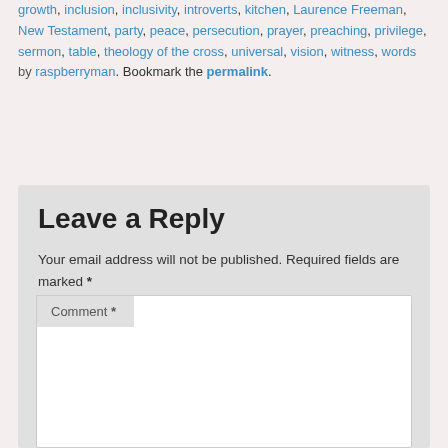growth, inclusion, inclusivity, introverts, kitchen, Laurence Freeman, New Testament, party, peace, persecution, prayer, preaching, privilege, sermon, table, theology of the cross, universal, vision, witness, words by raspberryman. Bookmark the permalink.
Leave a Reply
Your email address will not be published. Required fields are marked *
Comment *